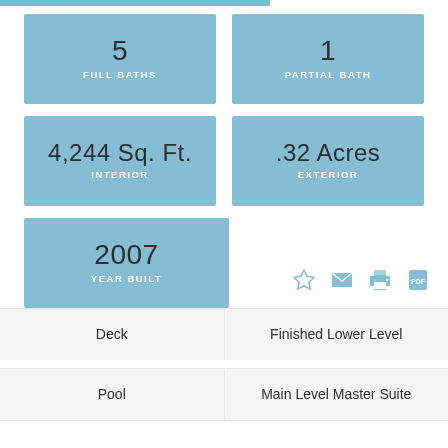5
FULL BATHS
1
PARTIAL BATH
4,244 Sq. Ft.
INTERIOR
.32 Acres
EXTERIOR
2007
YEAR BUILT
Deck
Finished Lower Level
Pool
Main Level Master Suite